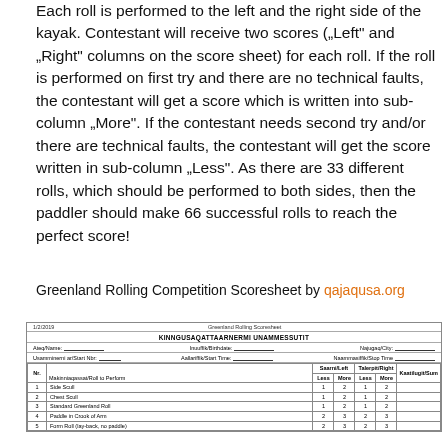Each roll is performed to the left and the right side of the kayak. Contestant will receive two scores ("Left" and "Right" columns on the score sheet) for each roll. If the roll is performed on first try and there are no technical faults, the contestant will get a score which is written into sub-column "More". If the contestant needs second try and/or there are technical faults, the contestant will get the score written in sub-column "Less". As there are 33 different rolls, which should be performed to both sides, then the paddler should make 66 successful rolls to reach the perfect score!
Greenland Rolling Competition Scoresheet by qajaqusa.org
| Nr. | Makinniaqassat/Roll to Perform | Saarni/Left Less | Saarni/Left More | Talerpit/Right Less | Talerpit/Right More | Kaatilugit/Sum |
| --- | --- | --- | --- | --- | --- | --- |
| 1 | Side Scull | 1 | 2 | 1 | 2 |  |
| 2 | Chest Scull | 1 | 2 | 1 | 2 |  |
| 3 | Standard Greenland Roll | 1 | 2 | 1 | 2 |  |
| 4 | Paddle in Crook of Arm | 2 | 3 | 2 | 3 |  |
| 5 | Form Roll (lay-back, no paddle) | 2 | 3 | 2 | 3 |  |